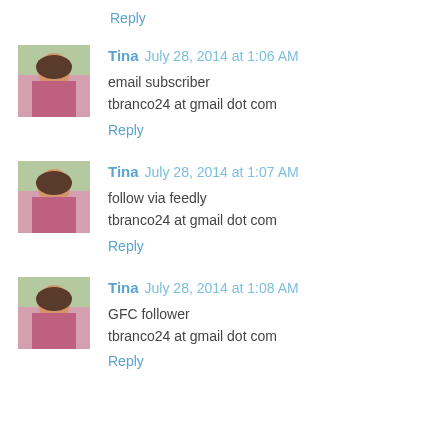Reply
[Figure (photo): Avatar photo of Tina - woman in pink clothing outdoors]
Tina  July 28, 2014 at 1:06 AM
email subscriber
tbranco24 at gmail dot com
Reply
[Figure (photo): Avatar photo of Tina - woman in pink clothing outdoors]
Tina  July 28, 2014 at 1:07 AM
follow via feedly
tbranco24 at gmail dot com
Reply
[Figure (photo): Avatar photo of Tina - woman in pink clothing outdoors]
Tina  July 28, 2014 at 1:08 AM
GFC follower
tbranco24 at gmail dot com
Reply